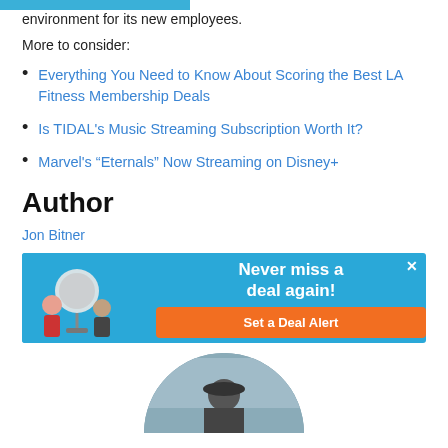environment for its new employees.
More to consider:
Everything You Need to Know About Scoring the Best LA Fitness Membership Deals
Is TIDAL's Music Streaming Subscription Worth It?
Marvel's “Eternals” Now Streaming on Disney+
Author
Jon Bitner
[Figure (infographic): Advertisement banner with blue background, cartoon characters, text 'Never miss a deal again!' and orange 'Set a Deal Alert' button with X close button in top right]
[Figure (photo): Circular author photo of Jon Bitner, partially visible at bottom of page]